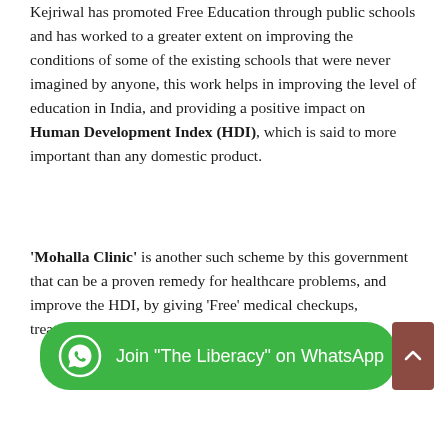Kejriwal has promoted Free Education through public schools and has worked to a greater extent on improving the conditions of some of the existing schools that were never imagined by anyone, this work helps in improving the level of education in India, and providing a positive impact on Human Development Index (HDI), which is said to more important than any domestic product.
'Mohalla Clinic' is another such scheme by this government that can be a proven remedy for healthcare problems, and improve the HDI, by giving 'Free' medical checkups, treatment, and medicine.
[Figure (infographic): Green WhatsApp banner with WhatsApp icon and text: Join "The Liberacy" on WhatsApp. A brownish-red scroll-to-top button with an upward arrow on the right side.]